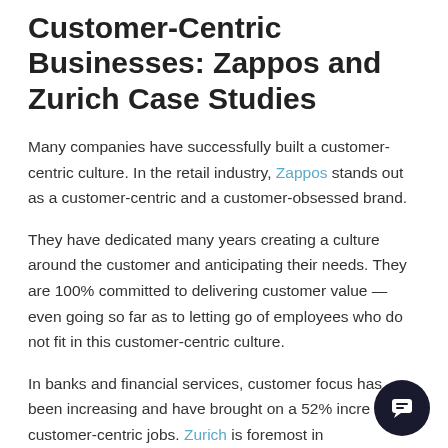Customer-Centric Businesses: Zappos and Zurich Case Studies
Many companies have successfully built a customer-centric culture. In the retail industry, Zappos stands out as a customer-centric and a customer-obsessed brand.
They have dedicated many years creating a culture around the customer and anticipating their needs. They are 100% committed to delivering customer value — even going so far as to letting go of employees who do not fit in this customer-centric culture.
In banks and financial services, customer focus has been increasing and have brought on a 52% increase in customer-centric jobs. Zurich is foremost in